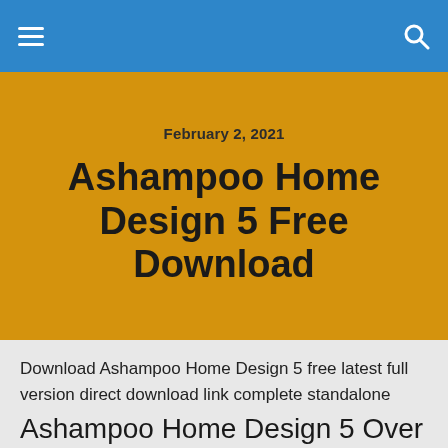≡  🔍
February 2, 2021
Ashampoo Home Design 5 Free Download
Download Ashampoo Home Design 5 free latest full version direct download link complete standalone offline installer setup for Windows 32-bit and 64-bit. Ashampoo Home Design 5 is a professional application for designing your dream house and provides a 3D view of the content.
Ashampoo Home Design 5 Over All